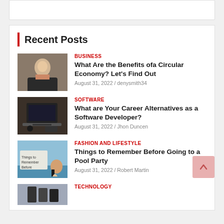Recent Posts
BUSINESS | What Are the Benefits ofa Circular Economy? Let's Find Out | August 31, 2022 / denysmith34
SOFTWARE | What are Your Career Alternatives as a Software Developer? | August 31, 2022 / Jhon Duncen
FASHION AND LIFESTYLE | Things to Remember Before Going to a Pool Party | August 31, 2022 / Robert Martin
TECHNOLOGY